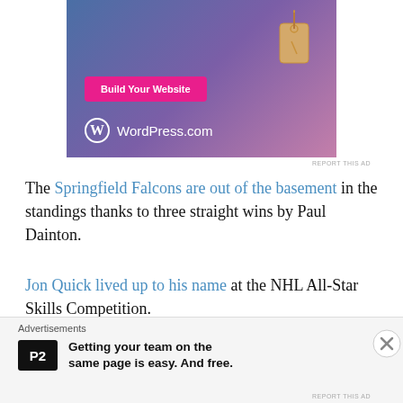[Figure (illustration): WordPress.com advertisement banner with pink 'Build Your Website' button, a tan price tag graphic, and WordPress logo on a blue-purple-pink gradient background]
The Springfield Falcons are out of the basement in the standings thanks to three straight wins by Paul Dainton.
Jon Quick lived up to his name at the NHL All-Star Skills Competition.
Share this:
[Figure (infographic): Bottom advertisement bar: P2 logo with text 'Getting your team on the same page is easy. And free.']